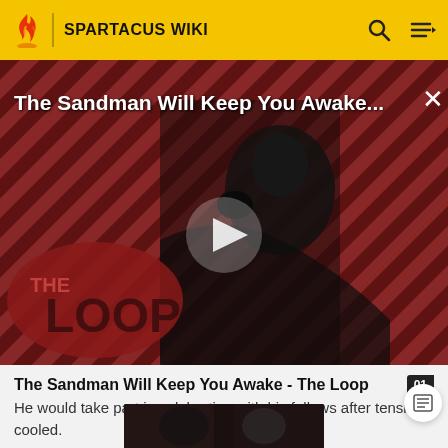SPARTACUS WIKI
[Figure (screenshot): Video thumbnail showing a figure in black costume against a red and black diagonal stripe background with 'THE LOOP' logo overlay and a play button in the center. Title text reads 'The Sandman Will Keep You Awake...']
The Sandman Will Keep You Awake - The Loop
He would take part in celebrating with his fellows after tensions cooled.
[Figure (photo): Partial bottom image strip showing a dark scene]